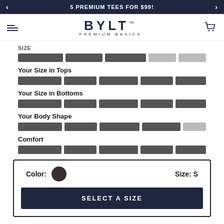5 PREMIUM TEES FOR $99!
[Figure (logo): BYLT PREMIUM BASICS logo with hamburger menu and cart icon]
Size
Your Size in Tops
Your Size in Bottoms
Your Body Shape
Comfort
Color: [dark swatch]  Size: S
SELECT A SIZE